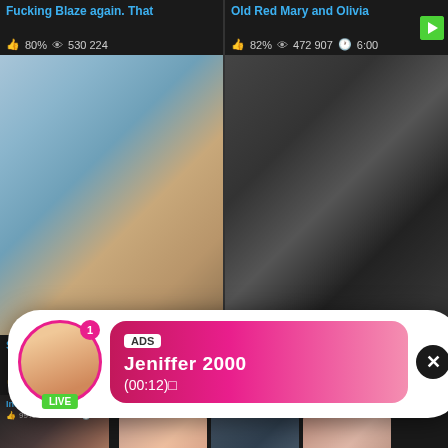Fucking Blaze again. That
👍 80%   👁 530 224
Old Red Mary and Olivia
👍 82%   👁 472 907   🕐 6:00
[Figure (photo): Adult video thumbnail - blue room scene]
[Figure (photo): Adult video thumbnail - dark group scene]
[Figure (infographic): Ad popup overlay with avatar of Jeniffer 2000, LIVE badge, notification badge showing 1, pink gradient bubble with ADS tag, username Jeniffer 2000, duration (00:12), close X button]
Sexy [title]
👍 85%
[Figure (photo): Adult video thumbnail - bottom left]
[Figure (infographic): Ad panel overlay: WHAT DO YOU WANT? with WATCH button, Online indicator, three thumbnails, text reading Cumming, ass fucking, squirt or..., ADS label, X close button]
India Summer anal fucked
👍 99%   👁 172 167   🕐 6:00
Momma take in over a foot
👍 92%   👁 134 235   🕐 5:00